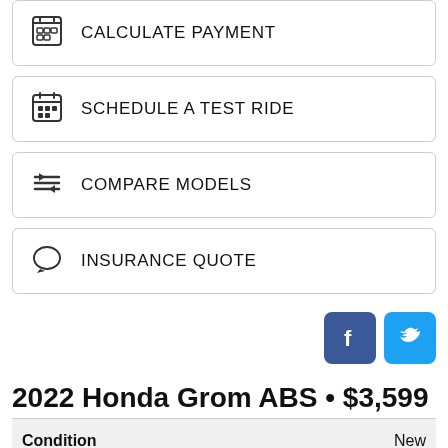CALCULATE PAYMENT
SCHEDULE A TEST RIDE
COMPARE MODELS
INSURANCE QUOTE
[Figure (logo): Facebook and Twitter social media icons]
2022 Honda Grom ABS • $3,599
| Condition | New |
| Category | Motorcy... |